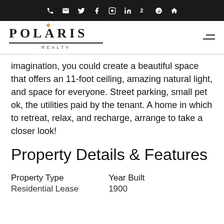Navigation bar with icons: phone, email, twitter, facebook, instagram, linkedin, zillow, yelp, home
[Figure (logo): Polaris Realty logo with gold star above the P in POLARIS, underline, and REALTY text below]
imagination, you could create a beautiful space that offers an 11-foot ceiling, amazing natural light, and space for everyone. Street parking, small pet ok, the utilities paid by the tenant. A home in which to retreat, relax, and recharge, arrange to take a closer look!
Property Details & Features
Property Type
Residential Lease
Year Built
1900